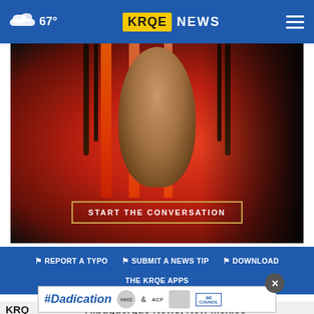67° KRQE NEWS
[Figure (photo): Advertisement image showing a young woman with braided hair against a red gradient background with text 'START THE CONVERSATION']
⚑ REPORT A TYPO   ⚑ SUBMIT A NEWS TIP   ⚑ DOWNLOAD THE KRQE APPS
[Figure (photo): #Dadication advertisement banner with ACF and Ad Council logos]
KRQE Albuquerque News, New Mexico